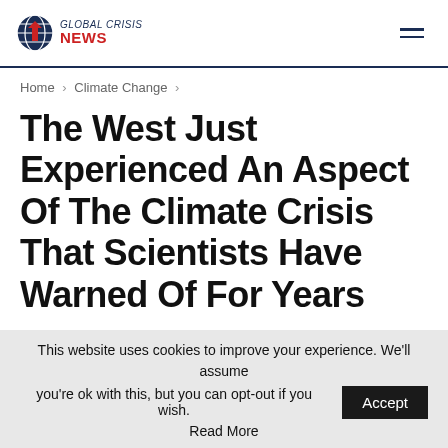GLOBAL CRISIS NEWS
Home > Climate Change >
The West Just Experienced An Aspect Of The Climate Crisis That Scientists Have Warned Of For Years
Last Updated Jun 16, 2022  CLIMATE CHANGE
This website uses cookies to improve your experience. We'll assume you're ok with this, but you can opt-out if you wish. Accept Read More